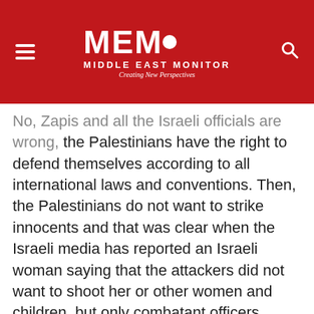MEMO – MIDDLE EAST MONITOR – Creating New Perspectives
No, Zapis and all the Israeli officials are wrong, the Palestinians have the right to defend themselves according to all international laws and conventions. Then, the Palestinians do not want to strike innocents and that was clear when the Israeli media has reported an Israeli woman saying that the attackers did not want to shoot her or other women and children, but only combatant officers.
All that the Palestinians want is the halt of Israeli aggression on their lands, homes, farms, mosques, dismantle illegal settlements, stop settler violence, stop night raids, release prisoners, dismantle military checkpoints that